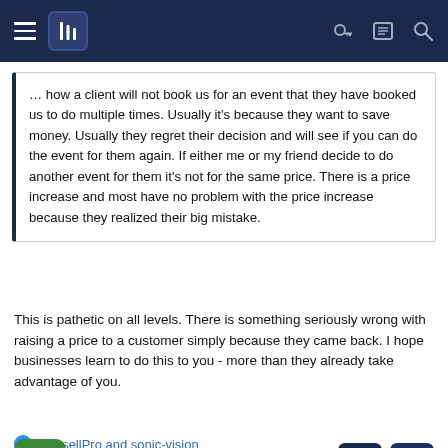Navigation bar with menu, filter icon, key, list, and search icons
… how a client will not book us for an event that they have booked us to do multiple times. Usually it's because they want to save money. Usually they regret their decision and will see if you can do the event for them again. If either me or my friend decide to do another event for them it's not for the same price. There is a price increase and most have no problem with the price increase because they realized their big mistake.
This is pathetic on all levels. There is something seriously wrong with raising a price to a customer simply because they came back. I hope businesses learn to do this to you - more than they already take advantage of you.
PhasellPro and sonic-vision
Proformance
DJ Extraordinaire